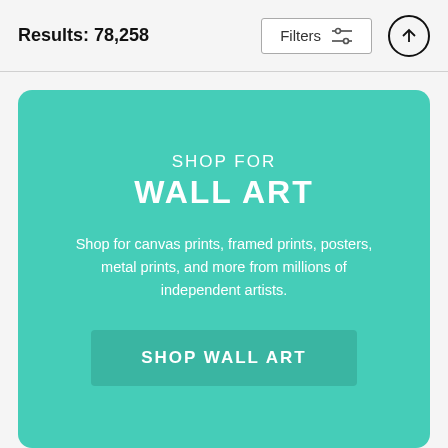Results: 78,258
Filters
SHOP FOR
WALL ART
Shop for canvas prints, framed prints, posters, metal prints, and more from millions of independent artists.
SHOP WALL ART